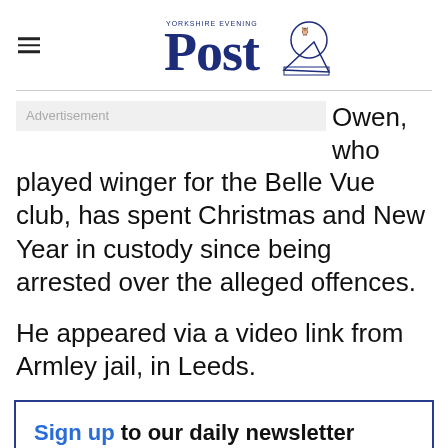Yorkshire Evening Post
Owen, who played winger for the Belle Vue club, has spent Christmas and New Year in custody since being arrested over the alleged offences.
He appeared via a video link from Armley jail, in Leeds.
Sign up to our daily newsletter
Enter your email